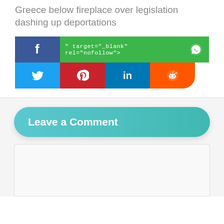Greece below fireplace over legislation dashing up deportations
[Figure (screenshot): Social media share buttons row: Facebook button (dark blue), green bar with code text '" target="_blank" rel="nofollow">', WhatsApp icon (green); second row: Twitter (blue), Pinterest (red), LinkedIn (blue), Reddit (orange)]
Leave a Comment
[Figure (screenshot): Empty comment text area input box]